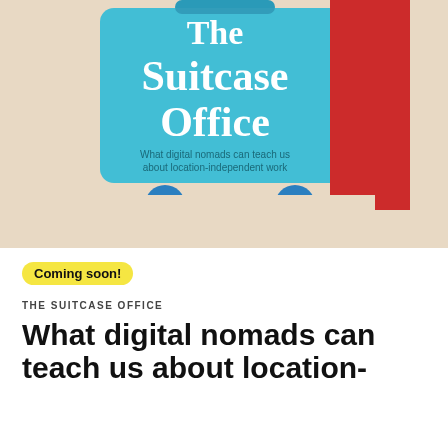[Figure (illustration): Book cover for 'The Suitcase Office' showing a blue rolling suitcase on a beige background with red accent stripe. Title text in white bold serif font. Subtitle: 'What digital nomads can teach us about location-independent work']
Coming soon!
THE SUITCASE OFFICE
What digital nomads can teach us about location-